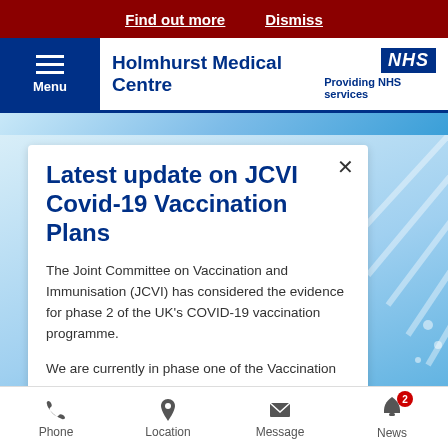Find out more   Dismiss
Holmhurst Medical Centre — NHS Providing NHS services
Latest update on JCVI Covid-19 Vaccination Plans
The Joint Committee on Vaccination and Immunisation (JCVI) has considered the evidence for phase 2 of the UK's COVID-19 vaccination programme.
We are currently in phase one of the Vaccination
Phone   Location   Message   News